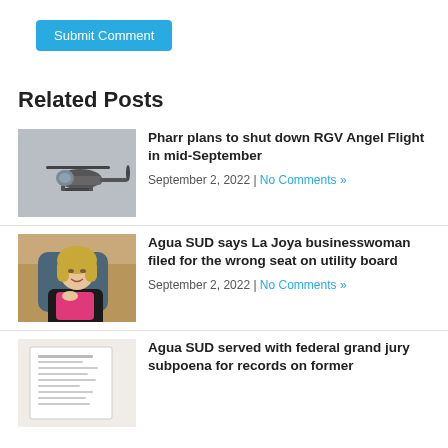Submit Comment
Related Posts
[Figure (photo): Helicopter in flight against grey sky]
Pharr plans to shut down RGV Angel Flight in mid-September
September 2, 2022 | No Comments »
[Figure (photo): Blonde businesswoman seated at a desk with hand on chin]
Agua SUD says La Joya businesswoman filed for the wrong seat on utility board
September 2, 2022 | No Comments »
[Figure (photo): Document page with text, appears to be a legal or official document]
Agua SUD served with federal grand jury subpoena for records on former